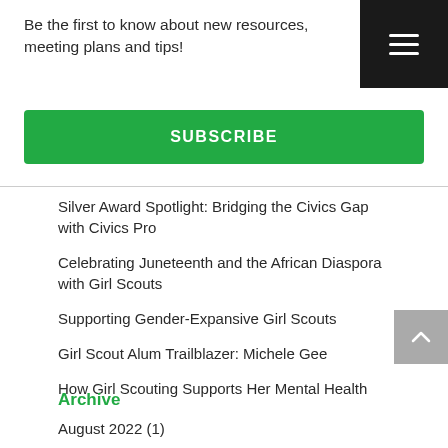Be the first to know about new resources, meeting plans and tips!
SUBSCRIBE
Silver Award Spotlight: Bridging the Civics Gap with Civics Pro
Celebrating Juneteenth and the African Diaspora with Girl Scouts
Supporting Gender-Expansive Girl Scouts
Girl Scout Alum Trailblazer: Michele Gee
How Girl Scouting Supports Her Mental Health
Archive
August 2022 (1)